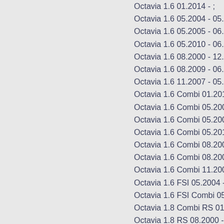Octavia 1.6 01.2014 - ;
Octavia 1.6 05.2004 - 05.2005;
Octavia 1.6 05.2005 - 06.2013;
Octavia 1.6 05.2010 - 06.2013;
Octavia 1.6 08.2000 - 12.2010;
Octavia 1.6 08.2009 - 06.2013;
Octavia 1.6 11.2007 - 05.2010;
Octavia 1.6 Combi 01.2014 - ;
Octavia 1.6 Combi 05.2004 - 05.2005;
Octavia 1.6 Combi 05.2005 - 06.2013;
Octavia 1.6 Combi 05.2010 - 06.2013;
Octavia 1.6 Combi 08.2000 - 12.2010;
Octavia 1.6 Combi 08.2009 - 06.2013;
Octavia 1.6 Combi 11.2007 - 05.2010;
Octavia 1.6 FSI 05.2004 - 10.2008;
Octavia 1.6 FSI Combi 05.2004 - 10.2008;
Octavia 1.8 Combi RS 01.2003 - 01.2006;
Octavia 1.8 RS 08.2000 - 09.2004;
Octavia 1.8 T 08.2000 - 01.2006;
Octavia 1.8 T 08.2000 - 12.2010;
Octavia 1.8 T 4x4 08.2000 - 01.2006;